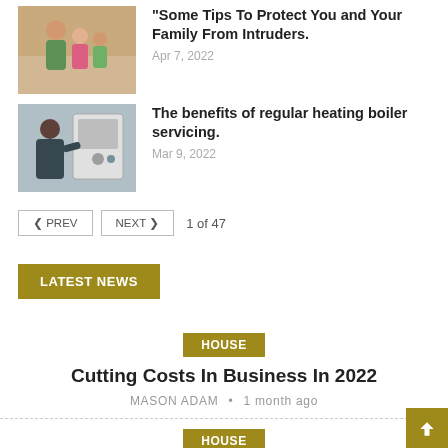[Figure (photo): Family photo thumbnail - mother with children smiling]
Some Tips To Protect You and Your Family From Intruders.
Apr 7, 2022
[Figure (photo): Technician servicing a heating boiler unit]
The benefits of regular heating boiler servicing.
Mar 9, 2022
< PREV   NEXT >   1 of 47
LATEST NEWS
HOUSE
Cutting Costs In Business In 2022
MASON ADAM • 1 month ago
HOUSE